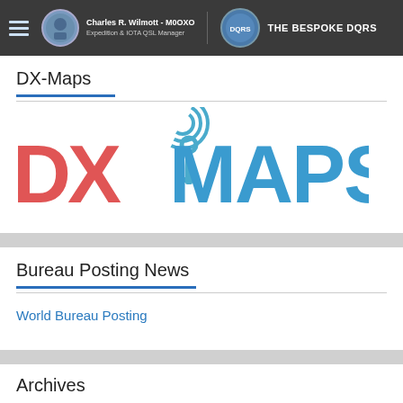Charles R. Wilmott - M0OXO | Expedition & IOTA QSL Manager | THE BESPOKE DQRS
DX-Maps
[Figure (logo): DX-Maps logo with large red DX letters and blue MAPS letters, featuring a radio tower icon with signal waves as the A in MAPS]
Bureau Posting News
World Bureau Posting
Archives